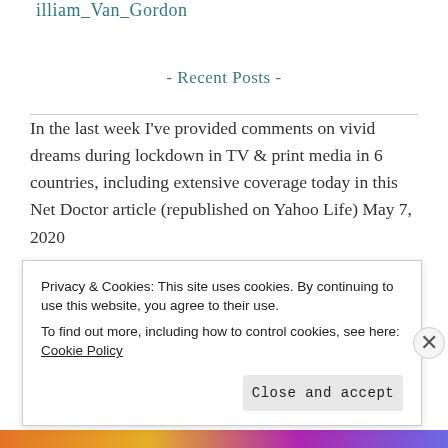illiam_Van_Gordon
- Recent Posts -
In the last week I've provided comments on vivid dreams during lockdown in TV & print media in 6 countries, including extensive coverage today in this Net Doctor article (republished on Yahoo Life) May 7, 2020
I was interviewed for an article in yesterday's print
Privacy & Cookies: This site uses cookies. By continuing to use this website, you agree to their use.
To find out more, including how to control cookies, see here: Cookie Policy